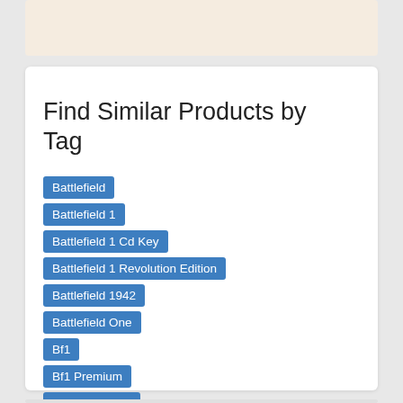Find Similar Products by Tag
Battlefield
Battlefield 1
Battlefield 1 Cd Key
Battlefield 1 Revolution Edition
Battlefield 1942
Battlefield One
Bf1
Bf1 Premium
Bf1 Revolution
Bf1 Revolution Edition
Bf1942
Revolution
Revolution Edition